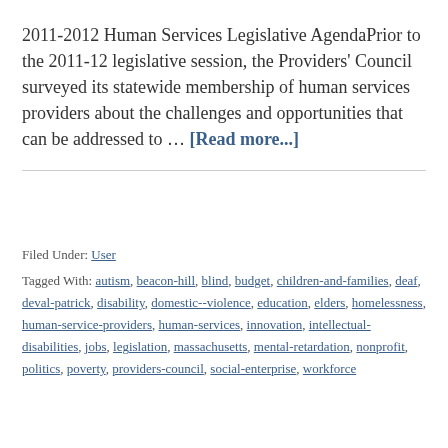2011-2012 Human Services Legislative AgendaPrior to the 2011-12 legislative session, the Providers' Council surveyed its statewide membership of human services providers about the challenges and opportunities that can be addressed to … [Read more...]
Filed Under: User
Tagged With: autism, beacon-hill, blind, budget, children-and-families, deaf, deval-patrick, disability, domestic--violence, education, elders, homelessness, human-service-providers, human-services, innovation, intellectual-disabilities, jobs, legislation, massachusetts, mental-retardation, nonprofit, politics, poverty, providers-council, social-enterprise, workforce